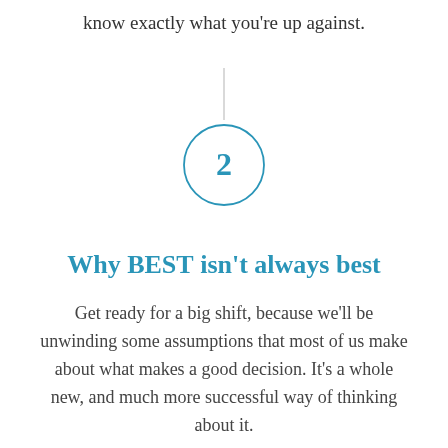know exactly what you're up against.
[Figure (infographic): A vertical line connector leading to a circled number 2 in teal/blue color]
Why BEST isn't always best
Get ready for a big shift, because we'll be unwinding some assumptions that most of us make about what makes a good decision. It's a whole new, and much more successful way of thinking about it.